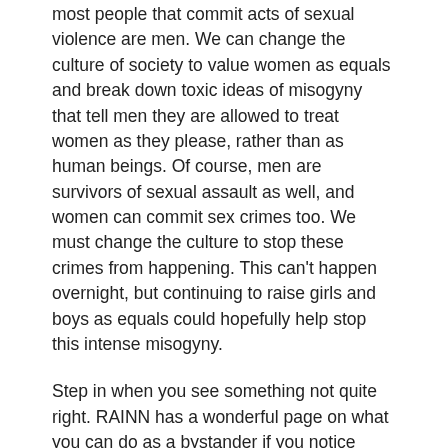most people that commit acts of sexual violence are men. We can change the culture of society to value women as equals and break down toxic ideas of misogyny that tell men they are allowed to treat women as they please, rather than as human beings. Of course, men are survivors of sexual assault as well, and women can commit sex crimes too. We must change the culture to stop these crimes from happening. This can't happen overnight, but continuing to raise girls and boys as equals could hopefully help stop this intense misogyny.
Step in when you see something not quite right. RAINN has a wonderful page on what you can do as a bystander if you notice something escalating that seems dangerous. They use the acronym CARE to provide a guide for bystander intervention. Create a distraction, Ask directly, Refer to an authority, Enlist others. If your intuition leads you to believe the dynamic between two people seems alarming or unsafe, trust that. Create a distraction such